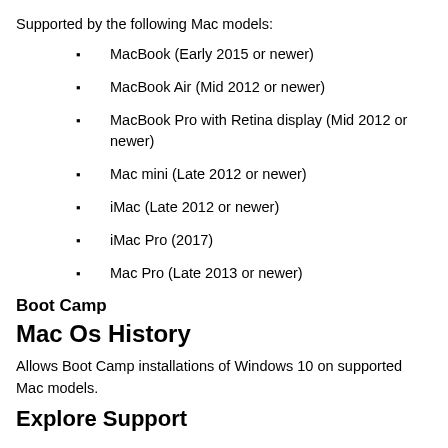Supported by the following Mac models:
MacBook (Early 2015 or newer)
MacBook Air (Mid 2012 or newer)
MacBook Pro with Retina display (Mid 2012 or newer)
Mac mini (Late 2012 or newer)
iMac (Late 2012 or newer)
iMac Pro (2017)
Mac Pro (Late 2013 or newer)
Boot Camp
Mac Os History
Allows Boot Camp installations of Windows 10 on supported Mac models.
Explore Support